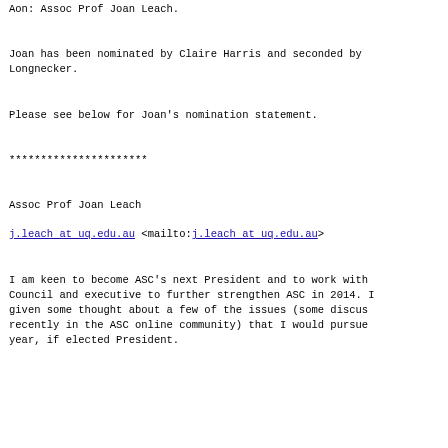Aon: Assoc Prof Joan Leach.
Joan has been nominated by Claire Harris and seconded by Longnecker.
Please see below for Joan's nomination statement.
**********************
Assoc Prof Joan Leach
j.leach at uq.edu.au <mailto:j.leach at uq.edu.au>
I am keen to become ASC's next President and to work with Council and executive to further strengthen ASC in 2014. I given some thought about a few of the issues (some discussed recently in the ASC online community) that I would pursue this year, if elected President.